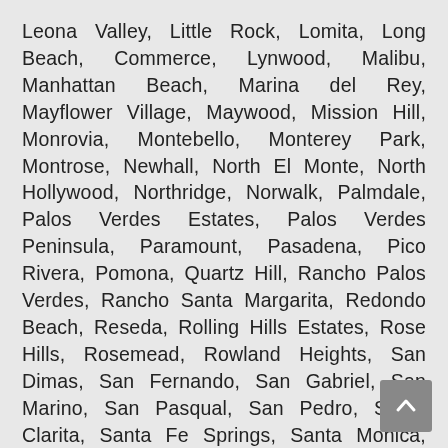Leona Valley, Little Rock, Lomita, Long Beach, Commerce, Lynwood, Malibu, Manhattan Beach, Marina del Rey, Mayflower Village, Maywood, Mission Hill, Monrovia, Montebello, Monterey Park, Montrose, Newhall, North El Monte, North Hollywood, Northridge, Norwalk, Palmdale, Palos Verdes Estates, Palos Verdes Peninsula, Paramount, Pasadena, Pico Rivera, Pomona, Quartz Hill, Rancho Palos Verdes, Rancho Santa Margarita, Redondo Beach, Reseda, Rolling Hills Estates, Rose Hills, Rosemead, Rowland Heights, San Dimas, San Fernando, San Gabriel, San Marino, San Pasqual, San Pedro, Santa Clarita, Santa Fe Springs, Santa Monica, Sherman Oaks, Sierra Madre, Signal Hill, Simi Valley, South El Monte, South Gate, South Monrovia Island, South Pasadena, South San Gabriel, South San Jose Hills, South Whittier,